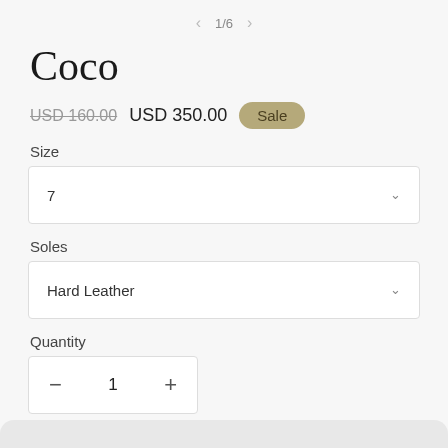< 1/6 >
Coco
USD 160.00  USD 350.00  Sale
Size
7
Soles
Hard Leather
Quantity
− 1 +